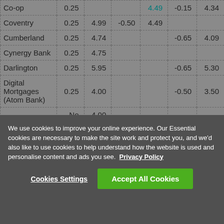| Lender | Col1 | Col2 | Col3 | Col4 | Col5 | Col6 |
| --- | --- | --- | --- | --- | --- | --- |
| Co-op | 0.25 | 4.49 (truncated) | 0.25 (truncated) | 4.49 | -0.15 | 4.34 |
| Coventry | 0.25 | 4.99 | -0.50 | 4.49 |  |  |
| Cumberland | 0.25 | 4.74 |  |  | -0.65 | 4.09 |
| Cynergy Bank | 0.25 | 4.75 |  |  |  |  |
| Darlington | 0.25 | 5.95 |  |  | -0.65 | 5.30 |
| Digital Mortgages (Atom Bank) | 0.25 | 4.00 |  |  | -0.50 | 3.50 |
|  | No | 4.00 (partial) |  |  |  |  |
We use cookies to improve your online experience. Our Essential cookies are necessary to make the site work and protect you, and we'd also like to use cookies to help understand how the website is used and personalise content and ads you see. Privacy Policy